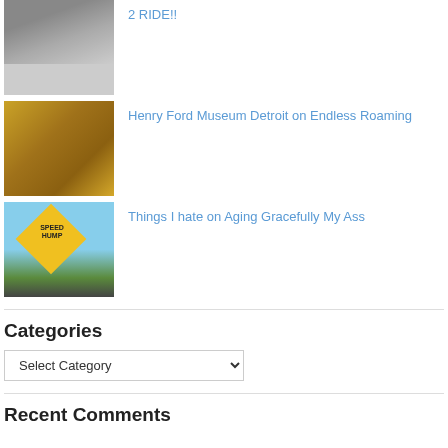[Figure (photo): Small thumbnail photo - partial view at top]
[Figure (photo): Henry Ford Museum Detroit thumbnail - warm interior museum photo]
Henry Ford Museum Detroit on Endless Roaming
[Figure (photo): Speed Hump road sign thumbnail photo]
Things I hate on Aging Gracefully My Ass
Categories
Select Category
Recent Comments